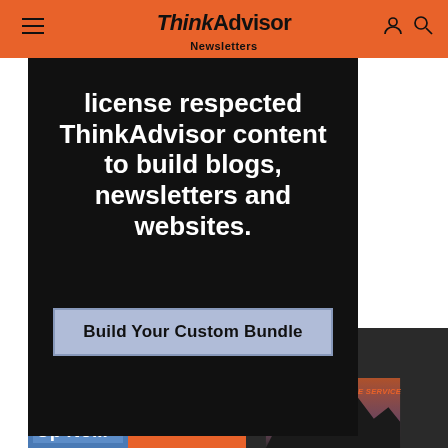ThinkAdvisor — Newsletters
[Figure (screenshot): Dark promotional banner with white bold text: 'license respected ThinkAdvisor content to build blogs, newsletters and websites.' with a 'Build Your Custom Bundle' button]
[Figure (photo): Bottom right panel with dark background, mountain silhouette image and orange italic text: 'WHEN YOU PRIORITIZE SERVICE']
Up No...